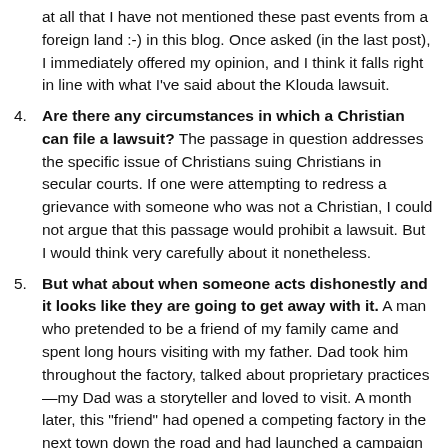at all that I have not mentioned these past events from a foreign land :-) in this blog. Once asked (in the last post), I immediately offered my opinion, and I think it falls right in line with what I've said about the Klouda lawsuit.
4. Are there any circumstances in which a Christian can file a lawsuit? The passage in question addresses the specific issue of Christians suing Christians in secular courts. If one were attempting to redress a grievance with someone who was not a Christian, I could not argue that this passage would prohibit a lawsuit. But I would think very carefully about it nonetheless.
5. But what about when someone acts dishonestly and it looks like they are going to get away with it. A man who pretended to be a friend of my family came and spent long hours visiting with my father. Dad took him throughout the factory, talked about proprietary practices—my Dad was a storyteller and loved to visit. A month later, this "friend" had opened a competing factory in the next town down the road and had launched a campaign to steal our customers. Not long